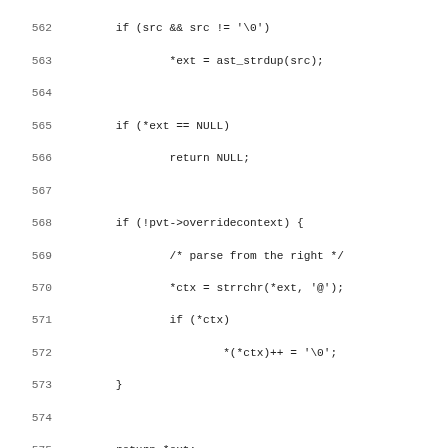Source code listing, lines 562-594, showing C functions for CLI console autoanswer handling